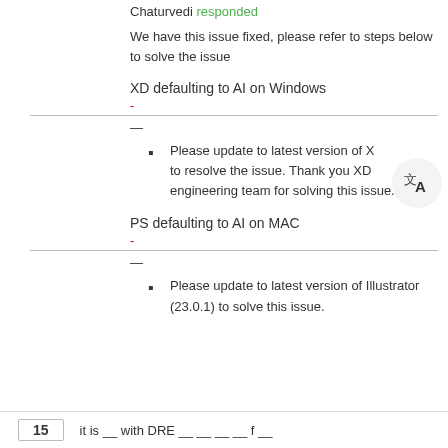Chaturvedi responded
We have this issue fixed, please refer to steps below to solve the issue
XD defaulting to AI on Windows
-
—
Please update to latest version of X to resolve the issue. Thank you XD engineering team for solving this issue.
PS defaulting to AI on MAC
-
—
Please update to latest version of Illustrator (23.0.1) to solve this issue.
15